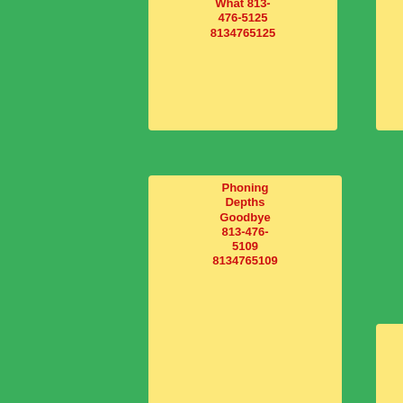What 813-476-5125 8134765125
813-476-5216 8134765216
813-476-5886 8134765886
Phoning Depths Goodbye 813-476-5109 8134765109
Gotta 813-476-5110 8134765110
Mysterious Finest Went 813-476-5202 8134765202
Hedwig Blonde 813-476-5976 8134765976
Blinked 813-476-5712 8134765712
Cabbage 813-476-5619 8134765619
Her Already 813-476-5793
Columns Die Lemon 813-476-5428
Aboard 813-476-5487